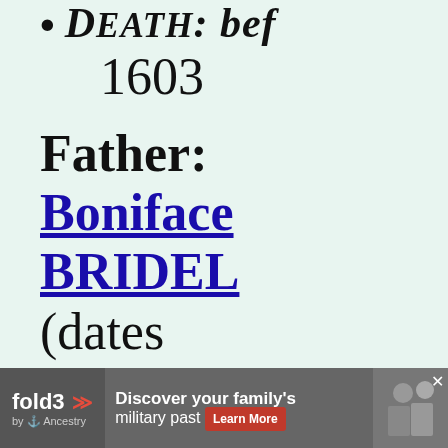DEATH: bef 1603
Father: Boniface BRIDEL (dates unknown)
Mother:
[Figure (screenshot): fold3 by Ancestry advertisement banner: 'Discover your family's military past Learn More' with photo of soldiers]